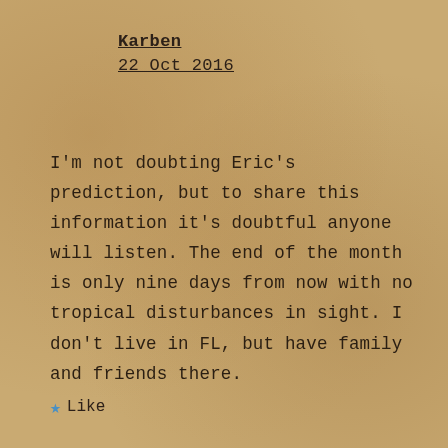Karben
22 Oct 2016
I'm not doubting Eric's prediction, but to share this information it's doubtful anyone will listen. The end of the month is only nine days from now with no tropical disturbances in sight. I don't live in FL, but have family and friends there.
★ Like